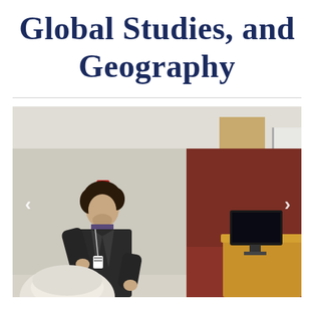Global Studies, and Geography
[Figure (photo): A man in a dark blazer speaking or presenting at the front of a classroom or lecture room. He has curly dark hair and is wearing a conference badge lanyard. Behind him is a red wall with a tan/brown framed board, and to the right is a wooden podium with a computer monitor on it and a whiteboard partially visible. In the foreground is the back of a white-haired person's head. Navigation arrows (left and right) are visible on the sides of the image.]